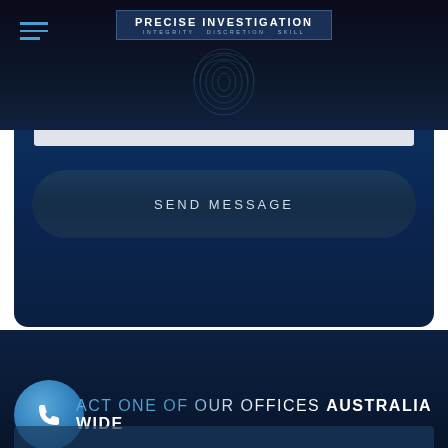PRECISE INVESTIGATION — INTEGRITY · DISCRETION · SKILL
[Figure (screenshot): Send Message button on a dark blue contact form card]
SEND MESSAGE
ACT ONE OF OUR OFFICES AUSTRALIA WIDE